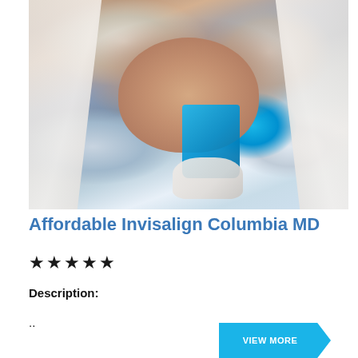[Figure (photo): Dental procedure photo showing a patient reclined in a dental chair with mouth open, a dentist in white coat and mask using a blue LED dental tool, and an assistant in white coat visible in the background.]
Affordable Invisalign Columbia MD
★★★★★
Description:
..